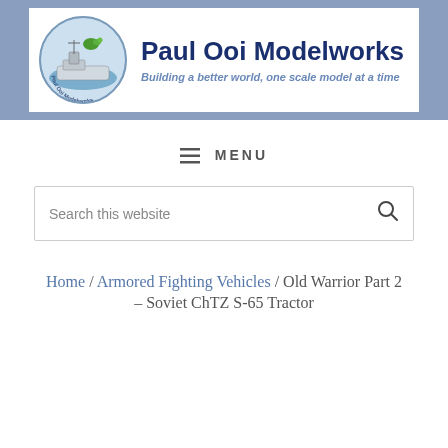Paul Ooi Modelworks — Building a better world, one scale model at a time
≡ MENU
Search this website
Home / Armored Fighting Vehicles / Old Warrior Part 2 – Soviet ChTZ S-65 Tractor